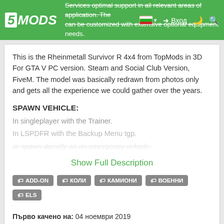5MODS navigation bar with logo, Bulgarian flag, Вход (login), dark mode and search icons. Background text: Services optimal support in all relevant areas of application. The can be customized with extensive optional equipment needs.
This is the Rheinmetall Survivor R 4x4 from TopMods in 3D For GTA V PC version. Steam and Social Club Version, FiveM. The model was basically redrawn from photos only and gets all the experience we could gather over the years.
SPAWN VEHICLE:
In singleplayer with the Trainer.
In LSPDFR with the Backup Menu tgp.
or spawn directly as an emergency vehicle.
Show Full Description
ADD-ON
КОЛИ
КАМИОНИ
ВОЕННИ
ELS
Първо качено на: 04 ноември 2019
Последно обновено на: 24 ноември 2019
Последно изтеглено: преди 4 часа